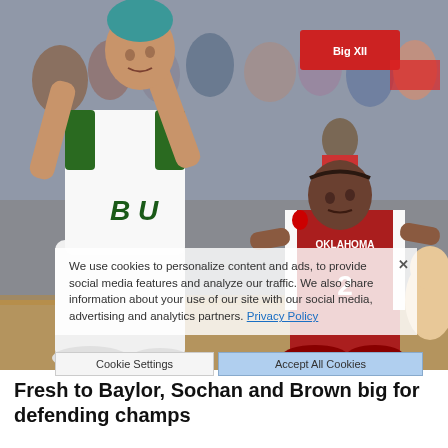[Figure (photo): Basketball game photo showing a Baylor player in white and green uniform shooting or passing over an Oklahoma player in red number 2 jersey. Crowd visible in background.]
We use cookies to personalize content and ads, to provide social media features and analyze our traffic. We also share information about your use of our site with our social media, advertising and analytics partners. Privacy Policy
Fresh to Baylor, Sochan and Brown big for defending champs